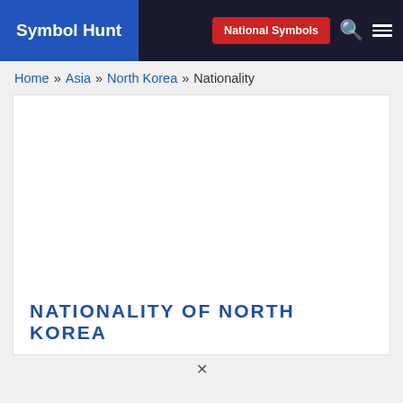Symbol Hunt | National Symbols
Home » Asia » North Korea » Nationality
NATIONALITY OF NORTH KOREA